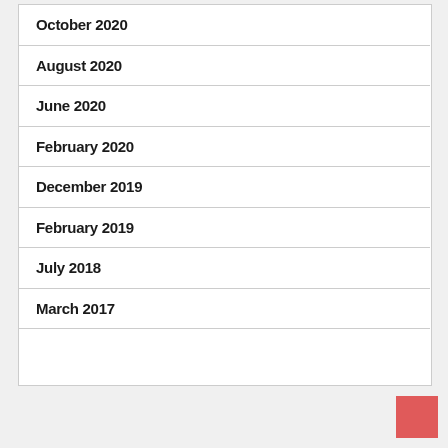October 2020
August 2020
June 2020
February 2020
December 2019
February 2019
July 2018
March 2017